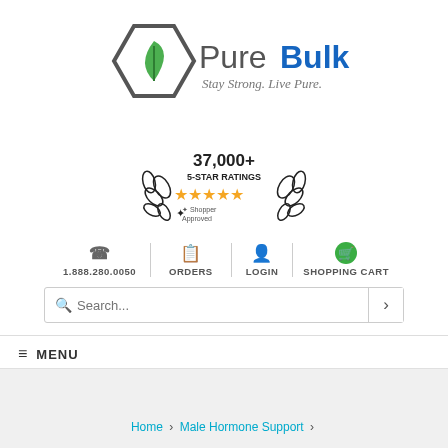[Figure (logo): PureBulk logo with hexagon leaf icon and tagline 'Stay Strong. Live Pure.']
[Figure (infographic): 37,000+ 5-Star Ratings badge with five gold stars and Shopper Approved seal]
1.888.280.0050  ORDERS  LOGIN  SHOPPING CART
Search...
MENU
Home > Male Hormone Support >